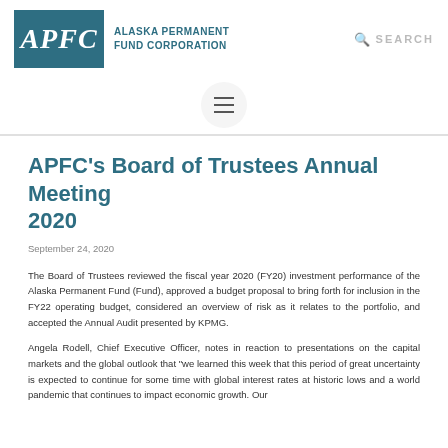APFC ALASKA PERMANENT FUND CORPORATION SEARCH
[Figure (other): Hamburger menu button (three horizontal lines) inside a circular white button]
APFC's Board of Trustees Annual Meeting 2020
September 24, 2020
The Board of Trustees reviewed the fiscal year 2020 (FY20) investment performance of the Alaska Permanent Fund (Fund), approved a budget proposal to bring forth for inclusion in the FY22 operating budget, considered an overview of risk as it relates to the portfolio, and accepted the Annual Audit presented by KPMG.
Angela Rodell, Chief Executive Officer, notes in reaction to presentations on the capital markets and the global outlook that "we learned this week that this period of great uncertainty is expected to continue for some time with global interest rates at historic lows and a world pandemic that continues to impact economic growth. Our